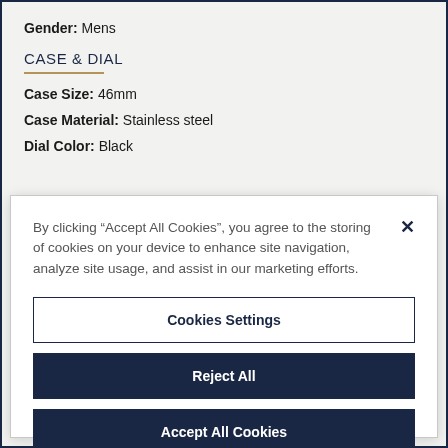Gender: Mens
CASE & DIAL
Case Size: 46mm
Case Material: Stainless steel
Dial Color: Black
By clicking “Accept All Cookies”, you agree to the storing of cookies on your device to enhance site navigation, analyze site usage, and assist in our marketing efforts.
Cookies Settings
Reject All
Accept All Cookies